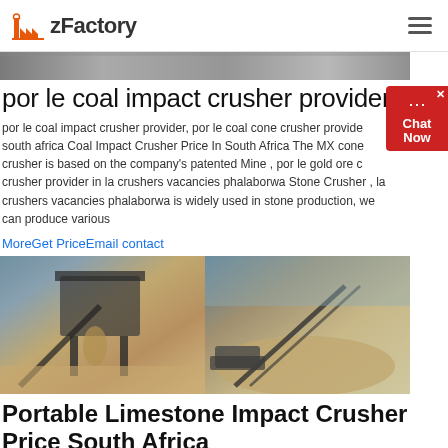zFactory
[Figure (photo): Top banner image showing crushed stone or gravel material]
por le coal impact crusher provider,
por le coal impact crusher provider, por le coal cone crusher provider south africa Coal Impact Crusher Price In South Africa The MX cone crusher is based on the company's patented Mine , por le gold ore crusher provider in la crushers vacancies phalaborwa Stone Crusher , la crushers vacancies phalaborwa is widely used in stone production, we can produce various
MoreGet PriceEmail contact
[Figure (photo): Two side-by-side photos of portable limestone impact crushers in operation at a quarry site]
Portable Limestone Impact Crusher Price South Africa